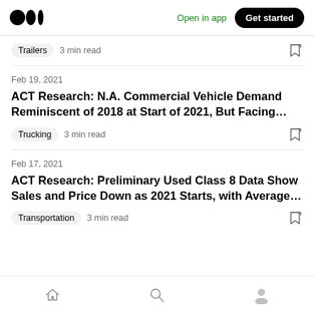Medium logo | Open in app | Get started
Trailers  3 min read
Feb 19, 2021
ACT Research: N.A. Commercial Vehicle Demand Reminiscent of 2018 at Start of 2021, But Facing...
Trucking  3 min read
Feb 17, 2021
ACT Research: Preliminary Used Class 8 Data Show Sales and Price Down as 2021 Starts, with Average...
Transportation  3 min read
Home | Search | Profile